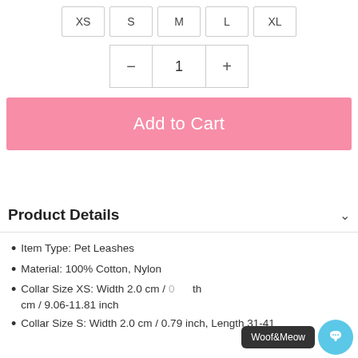XS S M L XL (size selection buttons)
Quantity selector: − 1 +
Add to Cart
Product Details
Item Type: Pet Leashes
Material: 100% Cotton, Nylon
Collar Size XS: Width 2.0 cm / 0... th cm / 9.06-11.81 inch
Collar Size S: Width 2.0 cm / 0.79 inch, Length 31-41